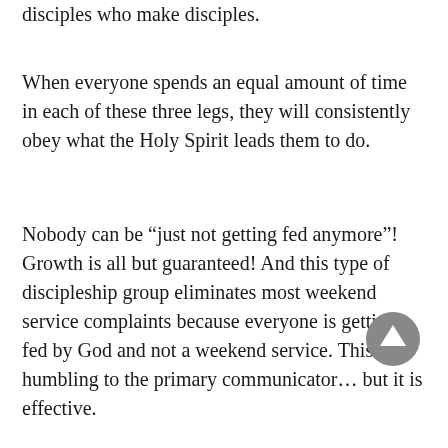disciples who make disciples.
When everyone spends an equal amount of time in each of these three legs, they will consistently obey what the Holy Spirit leads them to do.
Nobody can be “just not getting fed anymore”! Growth is all but guaranteed! And this type of discipleship group eliminates most weekend service complaints because everyone is getting fed by God and not a weekend service. This is humbling to the primary communicator… but it is effective.